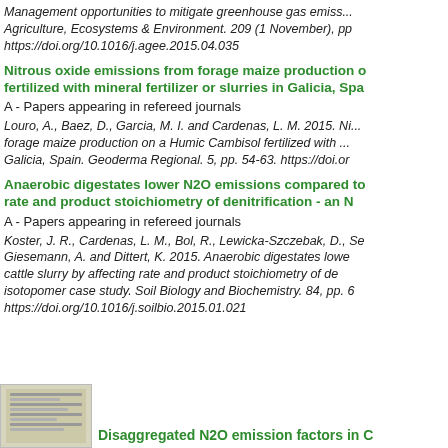Management opportunities to mitigate greenhouse gas emiss... Agriculture, Ecosystems & Environment. 209 (1 November), pp... https://doi.org/10.1016/j.agee.2015.04.035
Nitrous oxide emissions from forage maize production fertilized with mineral fertilizer or slurries in Galicia, Spa...
A - Papers appearing in refereed journals
Louro, A., Baez, D., Garcia, M. I. and Cardenas, L. M. 2015. Ni... forage maize production on a Humic Cambisol fertilized with ... Galicia, Spain. Geoderma Regional. 5, pp. 54-63. https://doi.or...
Anaerobic digestates lower N2O emissions compared to... rate and product stoichiometry of denitrification - an N...
A - Papers appearing in refereed journals
Koster, J. R., Cardenas, L. M., Bol, R., Lewicka-Szczebak, D., Se... Giesemann, A. and Dittert, K. 2015. Anaerobic digestates lowe... cattle slurry by affecting rate and product stoichiometry of de... isotopomer case study. Soil Biology and Biochemistry. 84, pp. 6... https://doi.org/10.1016/j.soilbio.2015.01.021
[Figure (photo): Thumbnail image of a scientific publication page]
Disaggregated N2O emission factors in C...